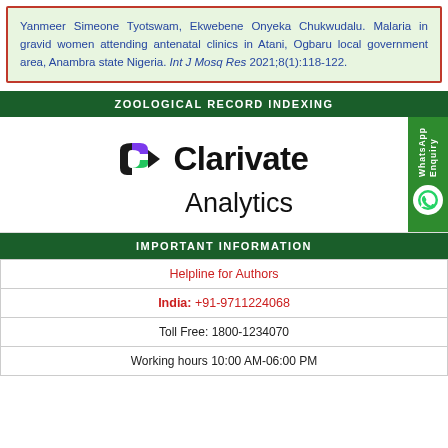Yanmeer Simeone Tyotswam, Ekwebene Onyeka Chukwudalu. Malaria in gravid women attending antenatal clinics in Atani, Ogbaru local government area, Anambra state Nigeria. Int J Mosq Res 2021;8(1):118-122.
ZOOLOGICAL RECORD INDEXING
[Figure (logo): Clarivate Analytics logo with triangular shield icon in purple, green and black, and text 'Clarivate Analytics']
IMPORTANT INFORMATION
| Helpline for Authors |
| India: +91-9711224068 |
| Toll Free: 1800-1234070 |
| Working hours 10:00 AM-06:00 PM |